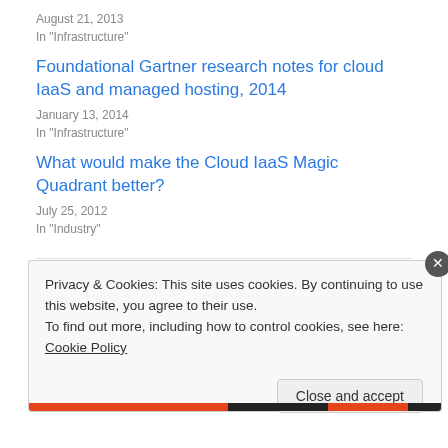August 21, 2013
In "Infrastructure"
Foundational Gartner research notes for cloud IaaS and managed hosting, 2014
January 13, 2014
In "Infrastructure"
What would make the Cloud IaaS Magic Quadrant better?
July 25, 2012
In "Industry"
September 4, 2013
200 Replies
Privacy & Cookies: This site uses cookies. By continuing to use this website, you agree to their use.
To find out more, including how to control cookies, see here: Cookie Policy
Close and accept